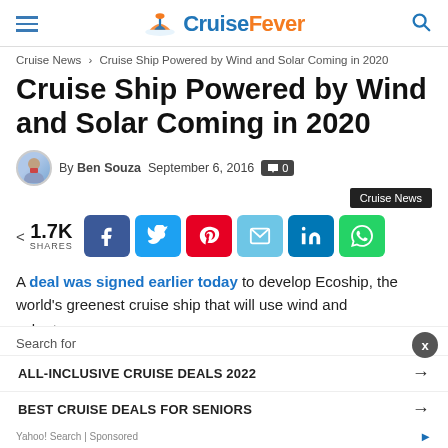CruiseFever
Cruise News > Cruise Ship Powered by Wind and Solar Coming in 2020
Cruise Ship Powered by Wind and Solar Coming in 2020
By Ben Souza  September 6, 2016  0
Cruise News
1.7K SHARES
A deal was signed earlier today to develop Ecoship, the world's greenest cruise ship that will use wind and solar to
Search for  ALL-INCLUSIVE CRUISE DEALS 2022  BEST CRUISE DEALS FOR SENIORS  Yahoo! Search | Sponsored